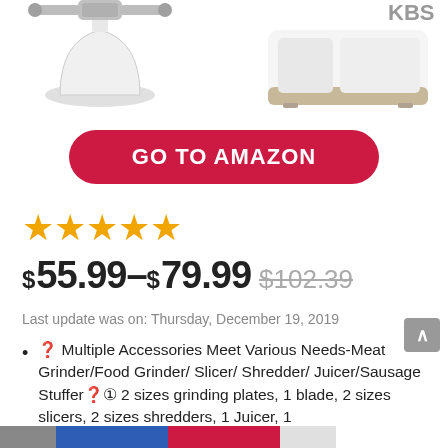[Figure (photo): Product images: meat grinder attachment on left, KBS branded appliance on right]
GO TO AMAZON
[Figure (other): 4 orange star rating icons]
$55.99–$79.99 $102.39
Last update was on: Thursday, December 19, 2019
🔧 Multiple Accessories Meet Various Needs-Meat Grinder/Food Grinder/ Slicer/ Shredder/ Juicer/Sausage Stuffer🔧① 2 sizes grinding plates, 1 blade, 2 sizes slicers, 2 sizes shredders, 1 Juicer, 1